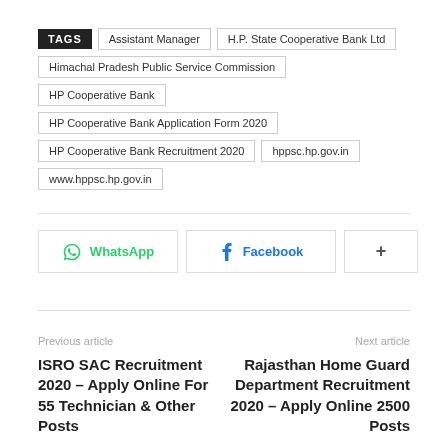TAGS  Assistant Manager  H.P. State Cooperative Bank Ltd  Himachal Pradesh Public Service Commission  HP Cooperative Bank  HP Cooperative Bank Application Form 2020  HP Cooperative Bank Recruitment 2020  hppsc.hp.gov.in  www.hppsc.hp.gov.in
[Figure (infographic): Social share buttons: WhatsApp, Facebook, and a plus/more button]
Previous article
Next article
ISRO SAC Recruitment 2020 – Apply Online For 55 Technician & Other Posts
Rajasthan Home Guard Department Recruitment 2020 – Apply Online 2500 Posts